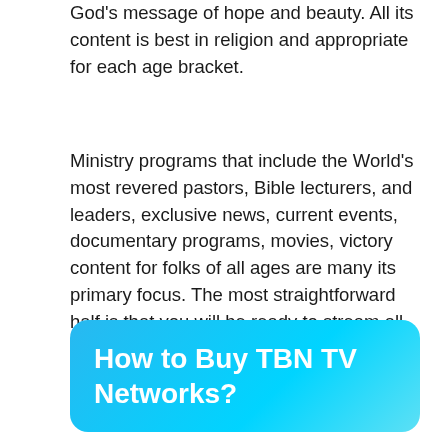God's message of hope and beauty. All its content is best in religion and appropriate for each age bracket.
Ministry programs that include the World's most revered pastors, Bible lecturers, and leaders, exclusive news, current events, documentary programs, movies, victory content for folks of all ages are many its primary focus. The most straightforward half is that you will be ready to stream all this content while not being interrupted by advertisements.
How to Buy TBN TV Networks?
To access all the on-demand content and stream